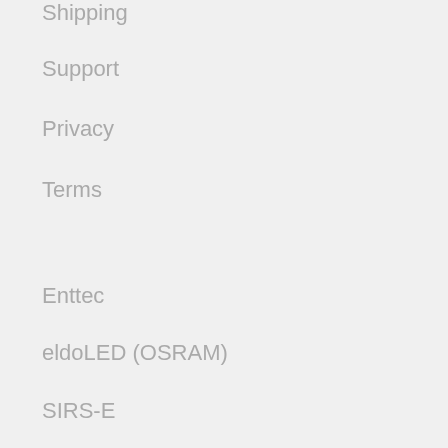Shipping
Support
Privacy
Terms
Enttec
eldoLED (OSRAM)
SIRS-E